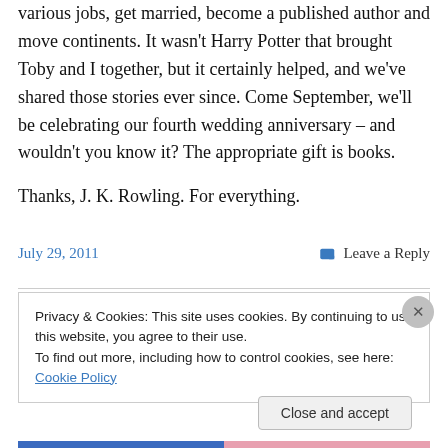various jobs, get married, become a published author and move continents. It wasn't Harry Potter that brought Toby and I together, but it certainly helped, and we've shared those stories ever since. Come September, we'll be celebrating our fourth wedding anniversary – and wouldn't you know it? The appropriate gift is books.
Thanks, J. K. Rowling. For everything.
July 29, 2011
Leave a Reply
Privacy & Cookies: This site uses cookies. By continuing to use this website, you agree to their use.
To find out more, including how to control cookies, see here: Cookie Policy
Close and accept